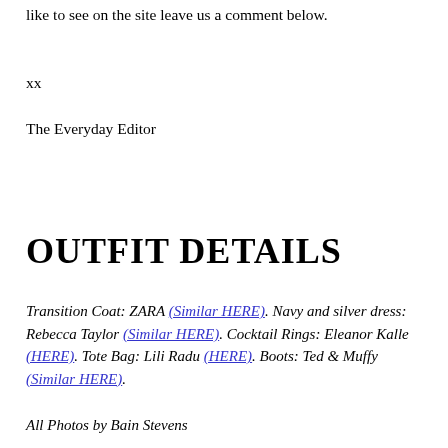like to see on the site leave us a comment below.
xx
The Everyday Editor
OUTFIT DETAILS
Transition Coat: ZARA (Similar HERE). Navy and silver dress: Rebecca Taylor (Similar HERE). Cocktail Rings: Eleanor Kalle (HERE). Tote Bag: Lili Radu (HERE). Boots: Ted & Muffy (Similar HERE).
All Photos by Bain Stevens